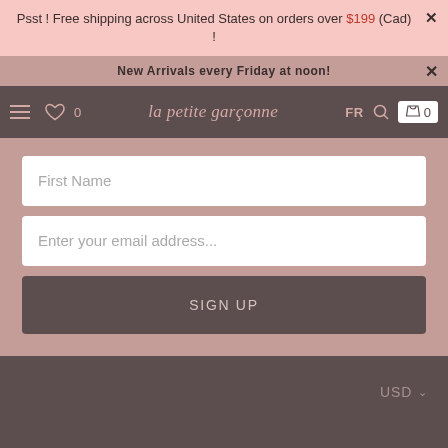Psst ! Free shipping across United States on orders over $199 (Cad) !
New Arrivals every Friday at noon!
[Figure (screenshot): Navigation bar with hamburger menu, heart/wishlist icon with count 0, brand logo 'la petite garçonne', FR language selector, search icon, and shopping bag with count 0]
First Name
Enter your email address...
SIGN UP
USD